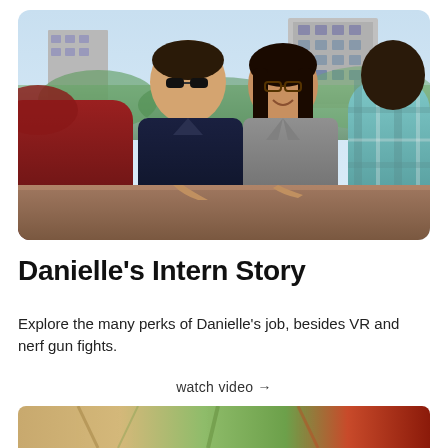[Figure (photo): Outdoor photo of young professionals sitting around a table, with a man in sunglasses and dark shirt, a woman in a gray blazer smiling, and another person in a plaid shirt visible from behind. Building and foliage in background.]
Danielle's Intern Story
Explore the many perks of Danielle's job, besides VR and nerf gun fights.
watch video →
[Figure (photo): Partial bottom image, partially cropped, showing colorful elements.]